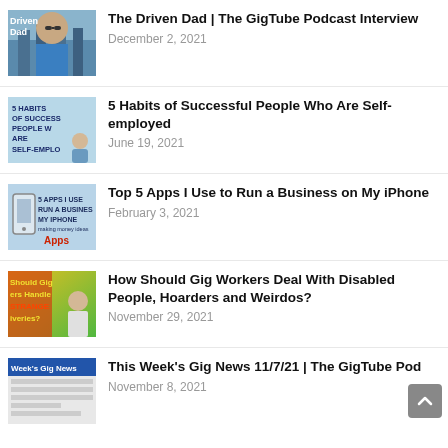The Driven Dad | The GigTube Podcast Interview — December 2, 2021
5 Habits of Successful People Who Are Self-employed — June 19, 2021
Top 5 Apps I Use to Run a Business on My iPhone — February 3, 2021
How Should Gig Workers Deal With Disabled People, Hoarders and Weirdos? — November 29, 2021
This Week's Gig News 11/7/21 | The GigTube Pod — November 8, 2021